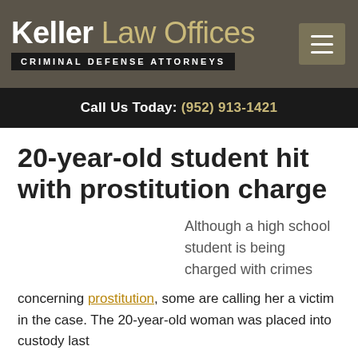Keller Law Offices — Criminal Defense Attorneys
Call Us Today: (952) 913-1421
20-year-old student hit with prostitution charge
Although a high school student is being charged with crimes
concerning prostitution, some are calling her a victim in the case. The 20-year-old woman was placed into custody last